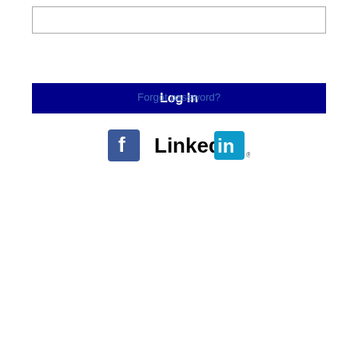[Figure (screenshot): Password input text field, empty]
Log In
Forgot password?
[Figure (logo): Facebook logo and LinkedIn logo side by side for social login]